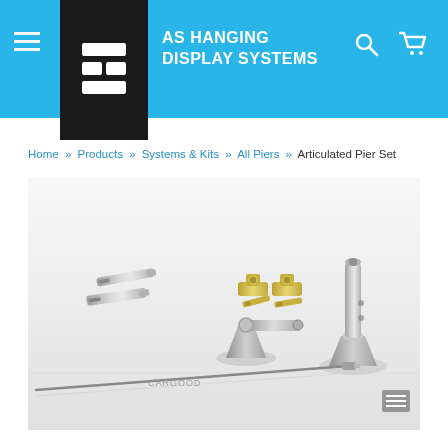AS HANGING DISPLAY SYSTEMS
Home » Products » Systems & Kits » All Piers » Articulated Pier Set
[Figure (photo): Product photo of the Articulated Pier Set components including screws, brass wall anchors, two articulated pier mounting hardware pieces with conical bases, and a steel cable with end fitting, arranged on a white surface.]